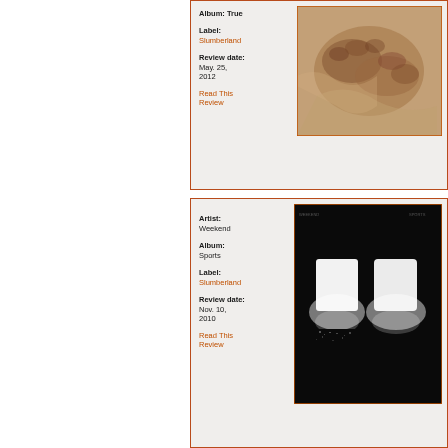Album: True
Label: Slumberland
Review date: May. 25, 2012
Read This Review
[Figure (photo): Sepia-toned photo of hands working with clay or fabric]
Artist: Weekend
Album: Sports
Label: Slumberland
Review date: Nov. 10, 2010
Read This Review
[Figure (photo): Black album cover with two white glowing rectangular shapes on dark background, small text in corners]